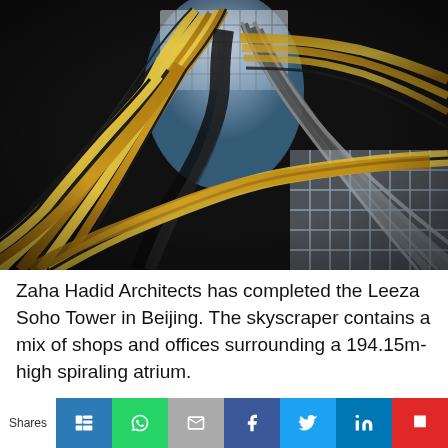[Figure (photo): Interior upward view of the Leeza Soho Tower in Beijing by Zaha Hadid Architects, showing the spiraling atrium with curved golden and dark metallic structural ribs twisting around a central void, with a glass ceiling visible at the top.]
Zaha Hadid Architects has completed the Leeza Soho Tower in Beijing. The skyscraper contains a mix of shops and offices surrounding a 194.15m-high spiraling atrium.
Shares [social share buttons: Pinterest, WhatsApp, Email, Facebook, Twitter, LinkedIn, Flipboard]